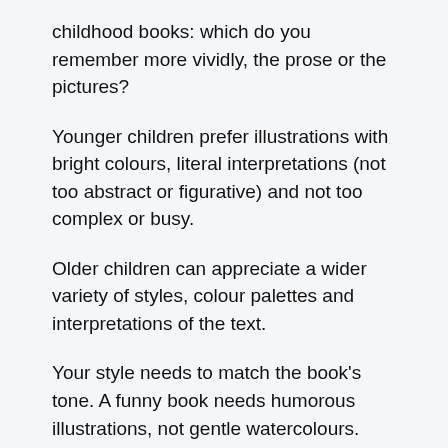childhood books: which do you remember more vividly, the prose or the pictures?
Younger children prefer illustrations with bright colours, literal interpretations (not too abstract or figurative) and not too complex or busy.
Older children can appreciate a wider variety of styles, colour palettes and interpretations of the text.
Your style needs to match the book's tone. A funny book needs humorous illustrations, not gentle watercolours. And a gentle book won't work with goofy art.